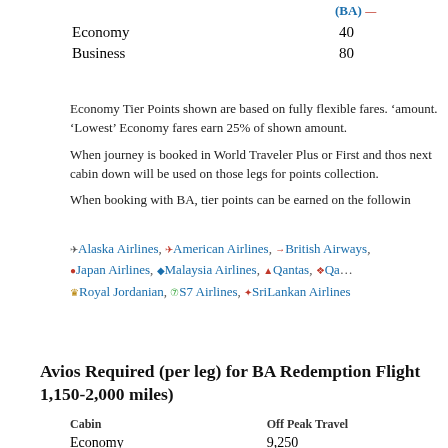|  | (BA) |
| --- | --- |
| Economy | 40 |
| Business | 80 |
Economy Tier Points shown are based on fully flexible fares. amount. 'Lowest' Economy fares earn 25% of shown amount.
When journey is booked in World Traveler Plus or First and those next cabin down will be used on those legs for points collection.
When booking with BA, tier points can be earned on the following:
Alaska Airlines, American Airlines, British Airways, Japan Airlines, Malaysia Airlines, Qantas, Royal Jordanian, S7 Airlines, SriLankan Airlines
Avios Required (per leg) for BA Redemption Flights 1,150-2,000 miles)
| Cabin | Off Peak Travel |
| --- | --- |
| Economy | 9,250 |
| Club | 17,750 |